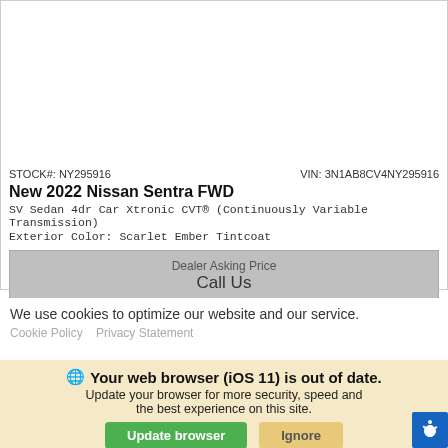STOCK#: NY295916    VIN: 3N1AB8CV4NY295916
New 2022 Nissan Sentra FWD
SV Sedan 4dr Car Xtronic CVT® (Continuously Variable Transmission)
Exterior Color: Scarlet Ember Tintcoat
Dealer Asking Price
Call Us
ETA of 10-03-2022*
We use cookies to optimize our website and our service.
Cookie Policy   Privacy Statement
🌐 Your web browser (iOS 11) is out of date. Update your browser for more security, speed and the best experience on this site.
Update browser   Ignore